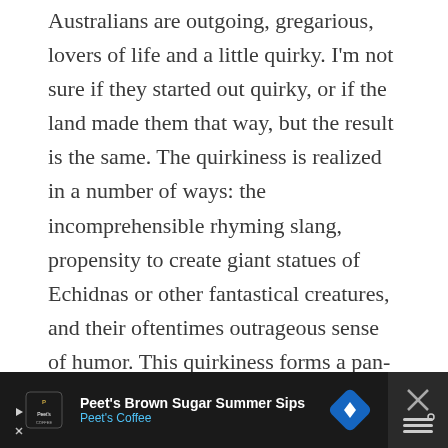Australians are outgoing, gregarious, lovers of life and a little quirky. I'm not sure if they started out quirky, or if the land made them that way, but the result is the same. The quirkiness is realized in a number of ways: the incomprehensible rhyming slang, propensity to create giant statues of Echidnas or other fantastical creatures, and their oftentimes outrageous sense of humor. This quirkiness forms a pan-Australian sense of welcome, enjoyment and taking life for what it is and makes any trip there an adventure.
[Figure (photo): Partial view of a rocky landscape (possibly Uluru or similar Australian red rock formation) against a bright blue sky with scattered clouds]
[Figure (other): Advertisement banner for Peet's Coffee - Peet's Brown Sugar Summer Sips, shown on a dark background with Peet's Coffee logo, ad text, a blue diamond navigation icon, and a close/dismiss button on the right]